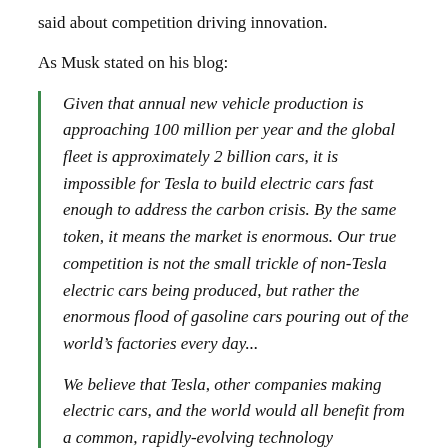said about competition driving innovation.
As Musk stated on his blog:
Given that annual new vehicle production is approaching 100 million per year and the global fleet is approximately 2 billion cars, it is impossible for Tesla to build electric cars fast enough to address the carbon crisis. By the same token, it means the market is enormous. Our true competition is not the small trickle of non-Tesla electric cars being produced, but rather the enormous flood of gasoline cars pouring out of the world’s factories every day...
We believe that Tesla, other companies making electric cars, and the world would all benefit from a common, rapidly-evolving technology